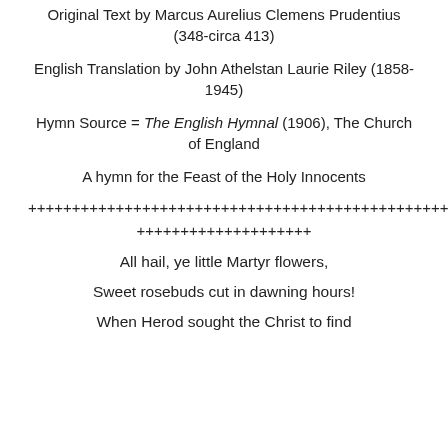Original Text by Marcus Aurelius Clemens Prudentius (348-circa 413)
English Translation by John Athelstan Laurie Riley (1858-1945)
Hymn Source = The English Hymnal (1906), The Church of England
A hymn for the Feast of the Holy Innocents
++++++++++++++++++++++++++++++++++++++++++++++++++
++++++++++++++++++++
All hail, ye little Martyr flowers,
Sweet rosebuds cut in dawning hours!
When Herod sought the Christ to find